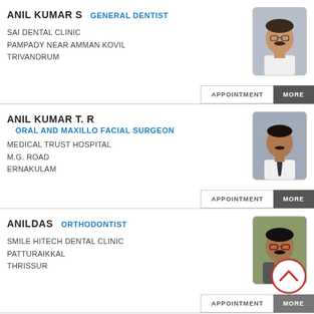ANIL KUMAR S  GENERAL DENTIST
SAI DENTAL CLINIC
PAMPADY NEAR AMMAN KOVIL
TRIVANDRUM
[Figure (photo): Portrait photo of Anil Kumar S, male, wearing white shirt, with glasses]
ANIL KUMAR T. R
ORAL AND MAXILLO FACIAL SURGEON
MEDICAL TRUST HOSPITAL
M.G. ROAD
ERNAKULAM
[Figure (photo): Portrait photo of Anil Kumar T. R, male, wearing white shirt and dark tie]
ANILDAS  ORTHODONTIST
SMILE HITECH DENTAL CLINIC
PATTURAIKKAL
THRISSUR
[Figure (photo): Portrait photo of Anildas, male, wearing glasses]